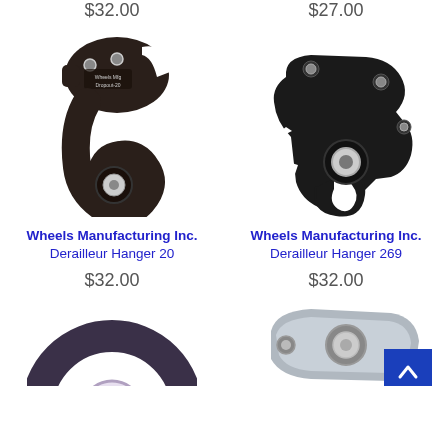$32.00
$27.00
[Figure (photo): Wheels Manufacturing Inc. Derailleur Hanger 20 - dark metal hook-shaped bicycle derailleur hanger with Wheels Mfg Dropout-20 label]
[Figure (photo): Wheels Manufacturing Inc. Derailleur Hanger 269 - flat black metal bicycle derailleur hanger bracket]
Wheels Manufacturing Inc.
Derailleur Hanger 20
Wheels Manufacturing Inc.
Derailleur Hanger 269
$32.00
$32.00
[Figure (photo): Partial view of a dark metal circular bicycle derailleur hanger (bottom row left)]
[Figure (photo): Partial view of a silver/gray metal flat bicycle derailleur hanger (bottom row right)]